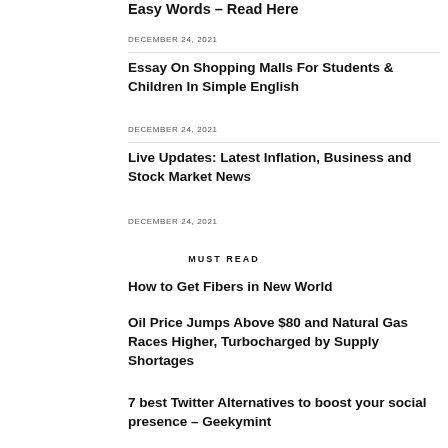Easy Words – Read Here
DECEMBER 24, 2021
Essay On Shopping Malls For Students & Children In Simple English
DECEMBER 24, 2021
Live Updates: Latest Inflation, Business and Stock Market News
DECEMBER 24, 2021
MUST READ
How to Get Fibers in New World
Oil Price Jumps Above $80 and Natural Gas Races Higher, Turbocharged by Supply Shortages
7 best Twitter Alternatives to boost your social presence – Geekymint